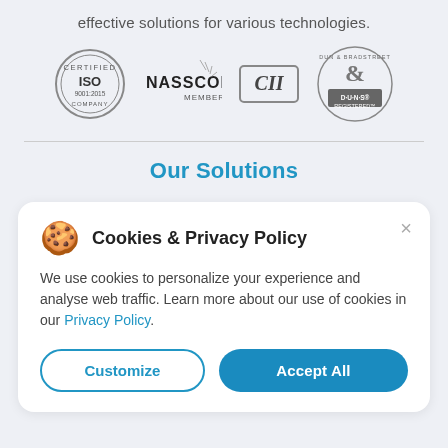effective solutions for various technologies.
[Figure (logo): Four certification logos in a row: ISO 9001:2015 Certified Company (circular badge), NASSCOM Member, CII (rectangular badge), Dun & Bradstreet D-U-N-S Registered]
Our Solutions
Cookies & Privacy Policy
We use cookies to personalize your experience and analyse web traffic. Learn more about our use of cookies in our Privacy Policy.
Customize
Accept All